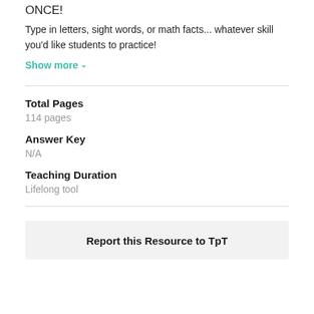ONCE!
Type in letters, sight words, or math facts... whatever skill you'd like students to practice!
Show more
Total Pages
114 pages
Answer Key
N/A
Teaching Duration
Lifelong tool
Report this Resource to TpT